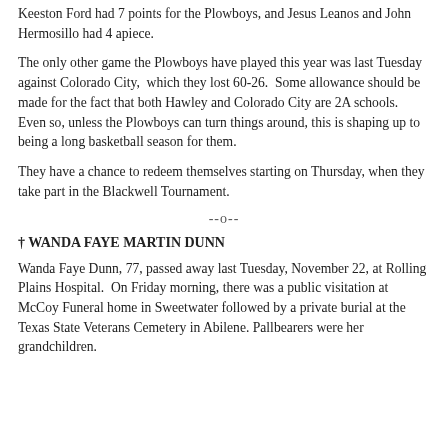Keeston Ford had 7 points for the Plowboys, and Jesus Leanos and John Hermosillo had 4 apiece.
The only other game the Plowboys have played this year was last Tuesday against Colorado City, which they lost 60-26. Some allowance should be made for the fact that both Hawley and Colorado City are 2A schools. Even so, unless the Plowboys can turn things around, this is shaping up to being a long basketball season for them.
They have a chance to redeem themselves starting on Thursday, when they take part in the Blackwell Tournament.
--o--
† WANDA FAYE MARTIN DUNN
Wanda Faye Dunn, 77, passed away last Tuesday, November 22, at Rolling Plains Hospital. On Friday morning, there was a public visitation at McCoy Funeral home in Sweetwater followed by a private burial at the Texas State Veterans Cemetery in Abilene. Pallbearers were her grandchildren.